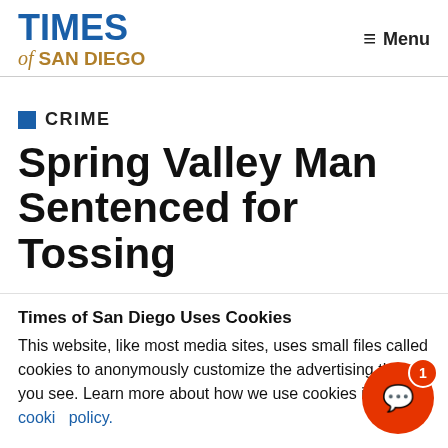TIMES of SAN DIEGO    ≡ Menu
CRIME
Spring Valley Man Sentenced for Tossing
Times of San Diego Uses Cookies
This website, like most media sites, uses small files called cookies to anonymously customize the advertising that you see. Learn more about how we use cookies in our cookie policy.